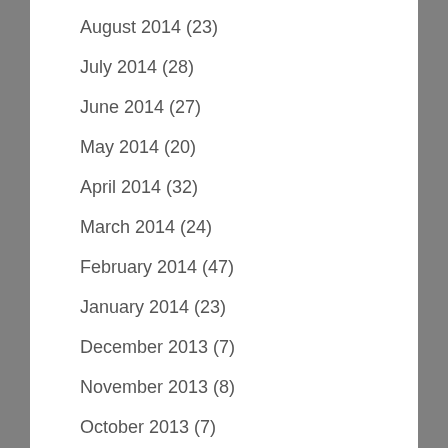August 2014 (23)
July 2014 (28)
June 2014 (27)
May 2014 (20)
April 2014 (32)
March 2014 (24)
February 2014 (47)
January 2014 (23)
December 2013 (7)
November 2013 (8)
October 2013 (7)
September 2013 (2)